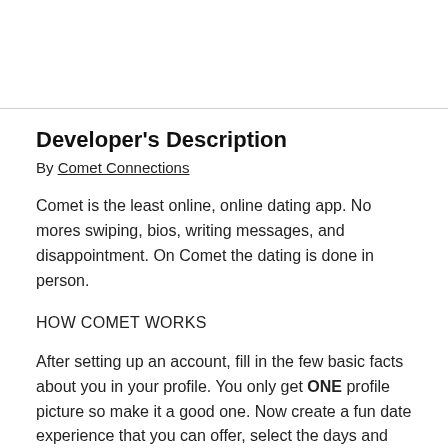Developer's Description
By Comet Connections
Comet is the least online, online dating app. No mores swiping, bios, writing messages, and disappointment. On Comet the dating is done in person.
HOW COMET WORKS
After setting up an account, fill in the few basic facts about you in your profile. You only get ONE profile picture so make it a good one. Now create a fun date experience that you can offer, select the days and time range you may execute your plans. Designate a pin point meeting spot